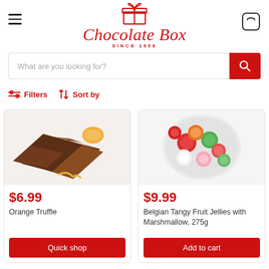[Figure (logo): Chocolate Box logo with gift box icon and cursive red text, SINCE 1958]
[Figure (screenshot): Search bar with placeholder 'What are you looking for?' and red search button]
Filters  Sort by
[Figure (photo): Orange Truffle chocolate product photo]
$6.99
Orange Truffle
Quick shop
[Figure (photo): Belgian Tangy Fruit Jellies with Marshmallow product photo]
$9.99
Belgian Tangy Fruit Jellies with Marshmallow, 275g
Add to cart